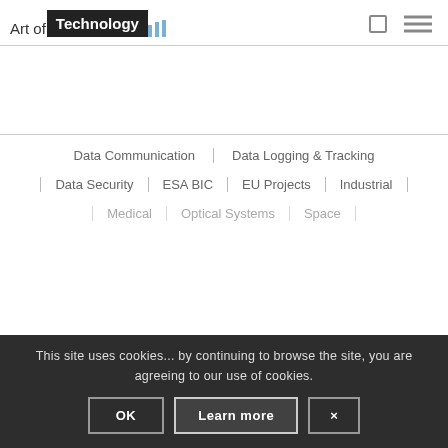[Figure (logo): Art of Technology logo with dark box and blue vertical bars]
Data Communication | Data Logging & Tracking
Data Security | ESA BIC | EU Projects | Industrial
Medical | Optical Systems | Space
This site uses cookies... by continuing to browse the site, you are agreeing to our use of cookies.
OK
Learn more
×